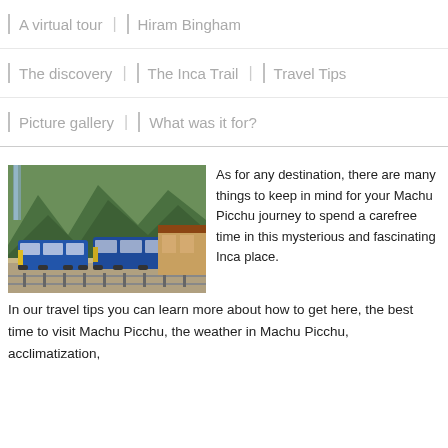A virtual tour | Hiram Bingham
The discovery | The Inca Trail | Travel Tips
Picture gallery | What was it for?
[Figure (photo): Two blue trains at a mountain railway station with green forested mountains in the background]
As for any destination, there are many things to keep in mind for your Machu Picchu journey to spend a carefree time in this mysterious and fascinating Inca place. In our travel tips you can learn more about how to get here, the best time to visit Machu Picchu, the weather in Machu Picchu, acclimatization,